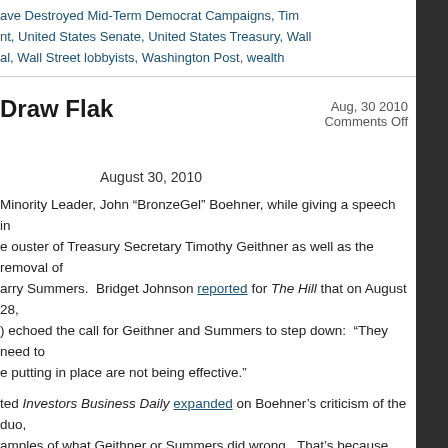ave Destroyed Mid-Term Democrat Campaigns, Tim
nt, United States Senate, United States Treasury, Wall
al, Wall Street lobbyists, Washington Post, wealth
Draw Flak
Aug, 30 2010
Comments Off
August 30, 2010
Minority Leader, John “BronzeGel” Boehner, while giving a speech in
e ouster of Treasury Secretary Timothy Geithner as well as the removal of
arry Summers.  Bridget Johnson reported for The Hill that on August 28,
) echoed the call for Geithner and Summers to step down:  “They need to
e putting in place are not being effective.”
ted Investors Business Daily expanded on Boehner’s criticism of the duo,
amples of what Geithner or Summers did wrong.  That’s because what they
the expense of the taxpayers — the same thing a Republican
a result, there have been simultaneous calls from the left for the sacking of
er wrote a piece for The Nation entitled, “They Go or Obama Goes”.  Here is